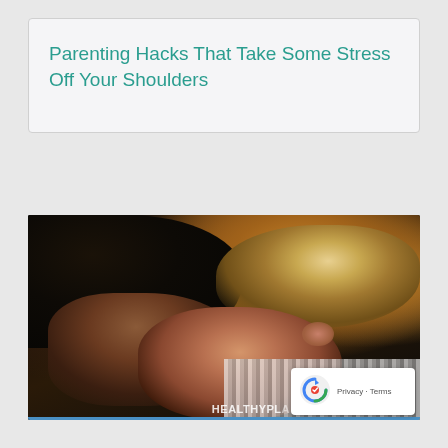Parenting Hacks That Take Some Stress Off Your Shoulders
[Figure (photo): A parent with dark curly hair leaning down and embracing a young child with blond hair, photographed outdoors with warm bokeh background. The child appears to be resting against the parent. A 'HEALTHYPLACE' watermark is visible at the bottom right of the image. A reCAPTCHA badge with Privacy and Terms links is overlaid at the bottom right corner.]